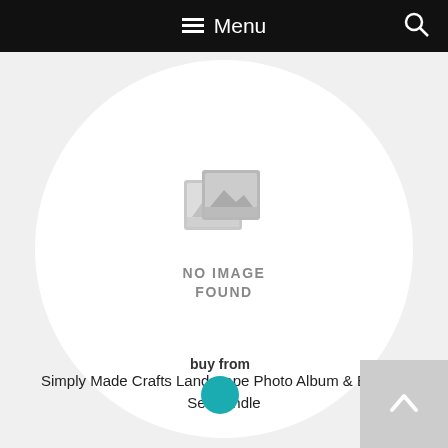Menu
[Figure (illustration): No image found placeholder — a grey image icon with two overlapping photo frames and a mountain/landscape silhouette, with the text 'NO IMAGE FOUND' beneath it, centered inside a white circle on a light grey background]
Simply Made Crafts Landscape Photo Album & Binding Set Bundle
buy from